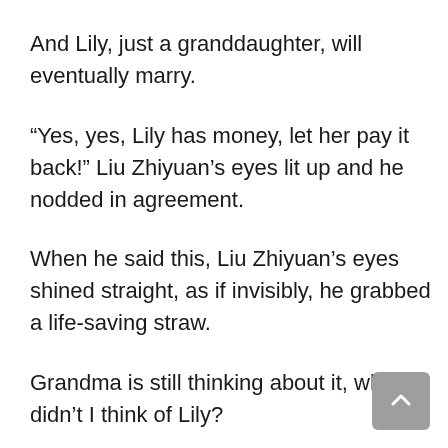And Lily, just a granddaughter, will eventually marry.
“Yes, yes, Lily has money, let her pay it back!” Liu Zhiyuan’s eyes lit up and he nodded in agreement.
When he said this, Liu Zhiyuan’s eyes shined straight, as if invisibly, he grabbed a life-saving straw.
Grandma is still thinking about it, why didn’t I think of Lily?
Chen Hao is not a fool. He quietly looked at the grandmother for a few seconds, then sneered: “Oh…